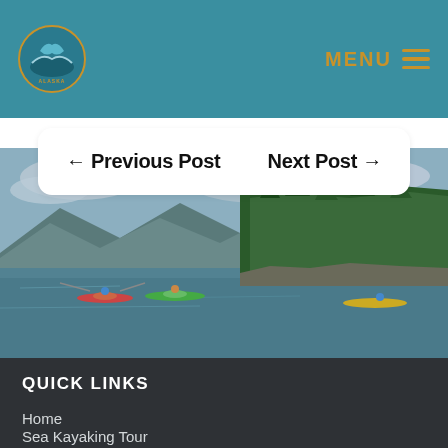COLUMBUS SEA KAYAKS ALASKA — MENU
← Previous Post    Next Post →
[Figure (photo): Sea kayakers paddling on calm water near a forested rocky island with mountains in the background, Alaska.]
QUICK LINKS
Home
Sea Kayaking Tour
Flightseeing Tour
Visitor Information